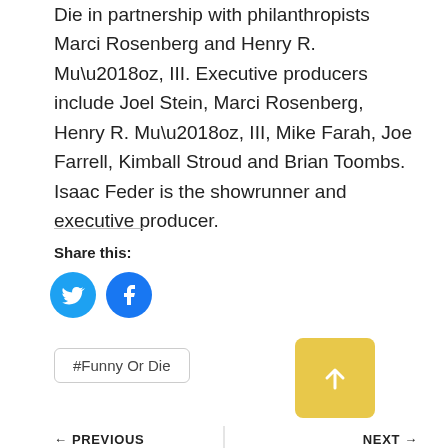Die in partnership with philanthropists Marci Rosenberg and Henry R. Mu‘oz, III. Executive producers include Joel Stein, Marci Rosenberg, Henry R. Mu‘oz, III, Mike Farah, Joe Farrell, Kimball Stroud and Brian Toombs. Isaac Feder is the showrunner and executive producer.
Share this:
[Figure (infographic): Two circular social share buttons: Twitter (light blue) and Facebook (blue)]
#Funny Or Die
[Figure (infographic): Yellow square button with white upward arrow icon for scrolling to top]
← PREVIOUS
NEXT →
Best Of The Web
The Only Thing That